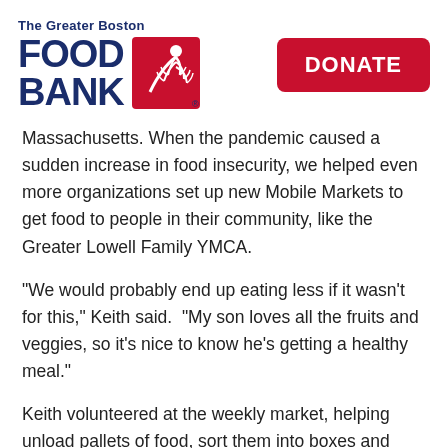[Figure (logo): The Greater Boston Food Bank logo with navy blue text and red wheat icon]
DONATE
Massachusetts. When the pandemic caused a sudden increase in food insecurity, we helped even more organizations set up new Mobile Markets to get food to people in their community, like the Greater Lowell Family YMCA.
“We would probably end up eating less if it wasn't for this,” Keith said.  “My son loves all the fruits and veggies, so it’s nice to know he’s getting a healthy meal.”
Keith volunteered at the weekly market, helping unload pallets of food, sort them into boxes and bags,